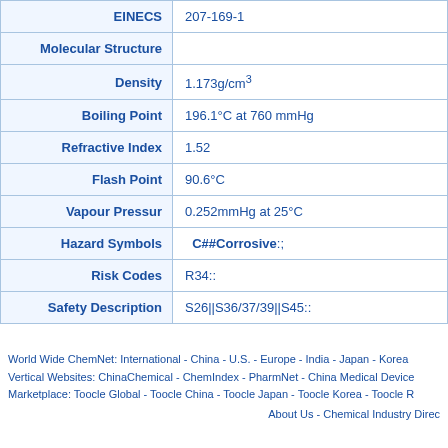| Property | Value |
| --- | --- |
| EINECS | 207-169-1 |
| Molecular Structure |  |
| Density | 1.173g/cm³ |
| Boiling Point | 196.1°C at 760 mmHg |
| Refractive Index | 1.52 |
| Flash Point | 90.6°C |
| Vapour Pressur | 0.252mmHg at 25°C |
| Hazard Symbols | C##Corrosive:; |
| Risk Codes | R34:: |
| Safety Description | S26||S36/37/39||S45:: |
World Wide ChemNet: International - China - U.S. - Europe - India - Japan - Korea Vertical Websites: ChinaChemical - ChemIndex - PharmNet - China Medical Device Marketplace: Toocle Global - Toocle China - Toocle Japan - Toocle Korea - Toocle R About Us - Chemical Industry Direc